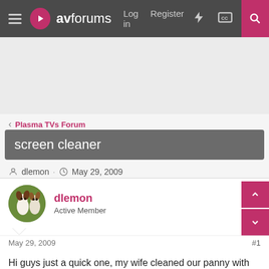avforums — Log in   Register
[Figure (other): Advertisement banner area (gray)]
< Plasma TVs Forum
screen cleaner
dlemon · May 29, 2009
dlemon
Active Member
May 29, 2009  #1
Hi guys just a quick one, my wife cleaned our panny with autoglym fast glass now the pannel looks like, well you can guess. I went over to pc world to get some cleaner and the guy said that there are some cleaners and the protective film